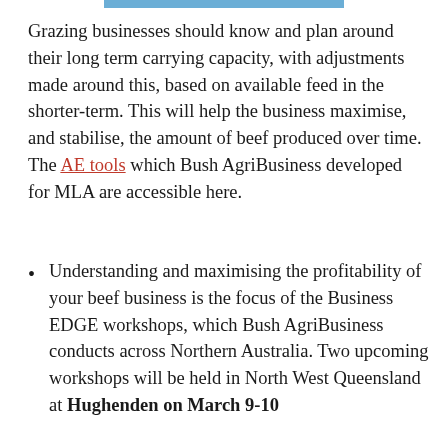Grazing businesses should know and plan around their long term carrying capacity, with adjustments made around this, based on available feed in the shorter-term. This will help the business maximise, and stabilise, the amount of beef produced over time. The AE tools which Bush AgriBusiness developed for MLA are accessible here.
Understanding and maximising the profitability of your beef business is the focus of the Business EDGE workshops, which Bush AgriBusiness conducts across Northern Australia. Two upcoming workshops will be held in North West Queensland at Hughenden on March 9-10